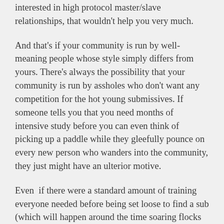interested in high protocol master/slave relationships, that wouldn't help you very much.
And that's if your community is run by well-meaning people whose style simply differs from yours. There's always the possibility that your community is run by assholes who don't want any competition for the hot young submissives. If someone tells you that you need months of intensive study before you can even think of picking up a paddle while they gleefully pounce on every new person who wanders into the community, they just might have an ulterior motive.
Even  if there were a standard amount of training everyone needed before being set loose to find a sub (which will happen around the time soaring flocks of pigs become a menace to air traffic), there would still be the problem of who provides that training. What if you go to Mistress A and I go to Master B and they disagree about whether punishment is useful in a d/s relationship? What if you start your training in City Q, then move to Town K before you're